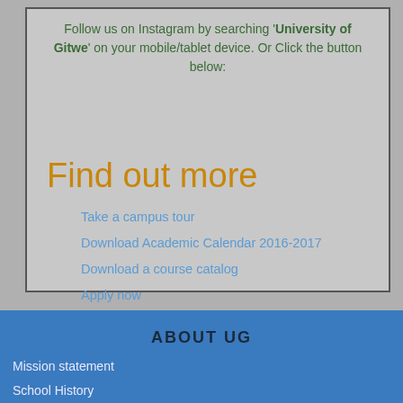Follow us on Instagram by searching 'University of Gitwe' on your mobile/tablet device. Or Click the button below:
Find out more
Take a campus tour
Download Academic Calendar 2016-2017
Download a course catalog
Apply now
ABOUT UG
Mission statement
School History